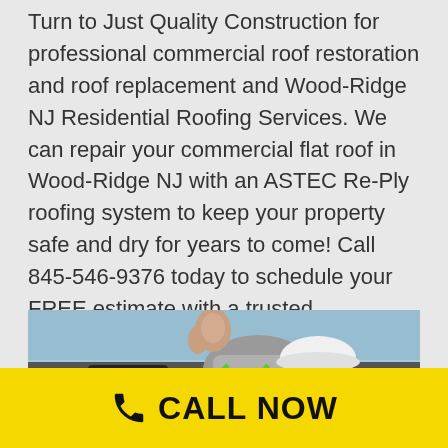Turn to Just Quality Construction for professional commercial roof restoration and roof replacement and Wood-Ridge NJ Residential Roofing Services. We can repair your commercial flat roof in Wood-Ridge NJ with an ASTEC Re-Ply roofing system to keep your property safe and dry for years to come! Call 845-546-9376 today to schedule your FREE estimate with a trusted commercial and residential roofing contractor Wood-Ridge New York and New Jersey.
[Figure (photo): A worker wearing a white hard hat and green safety harness giving a thumbs up on a rooftop, with a blue sky in the background.]
CALL NOW